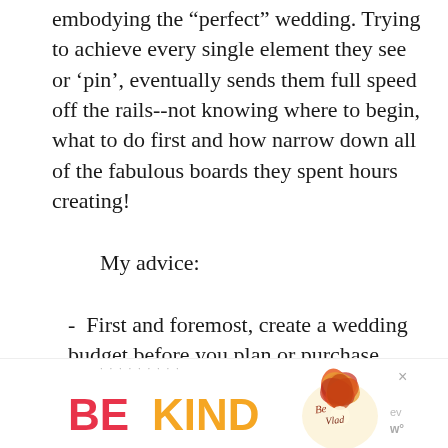embodying the “perfect” wedding. Trying to achieve every single element they see or ‘pin’, eventually sends them full speed off the rails--not knowing where to begin, what to do first and how narrow down all of the fabulous boards they spent hours creating!
My advice:
-  First and foremost, create a wedding budget before you plan or purchase anything, and stick to it!
[Figure (other): Advertisement banner with 'BE KIND' text in large red and orange letters, decorative floral logo, and small 'x' close button and 'evw' branding on the right side.]